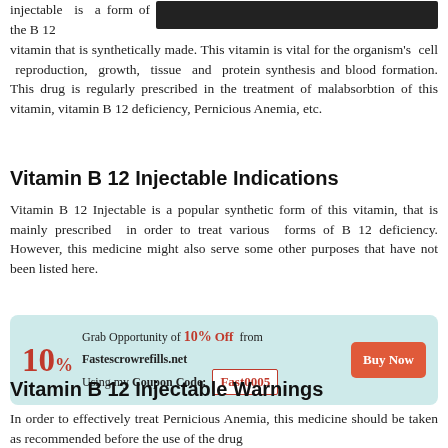[Figure (photo): Strip of Vitamin B 12 Injectable medication blister pack shown at top right]
injectable is a form of the B 12 vitamin that is synthetically made. This vitamin is vital for the organism's cell reproduction, growth, tissue and protein synthesis and blood formation. This drug is regularly prescribed in the treatment of malabsorbtion of this vitamin, vitamin B 12 deficiency, Pernicious Anemia, etc.
Vitamin B 12 Injectable Indications
Vitamin B 12 Injectable is a popular synthetic form of this vitamin, that is mainly prescribed in order to treat various forms of B 12 deficiency. However, this medicine might also serve some other purposes that have not been listed here.
[Figure (infographic): Promotional banner: 10% Off coupon for Fastescrowrefills.net using Coupon Code Fast0005 with Buy Now button]
Vitamin B 12 Injectable Warnings
In order to effectively treat Pernicious Anemia, this medicine should be taken as recommended before the use of the drug